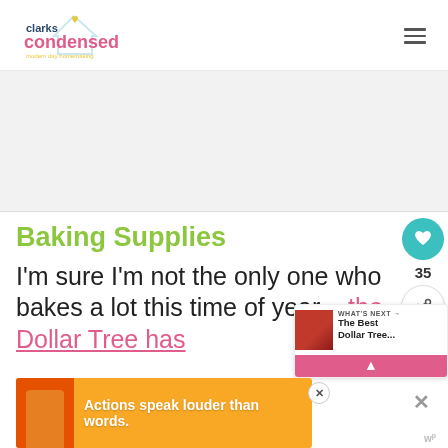clarks condensed — modern day homemaking
[Figure (screenshot): Advertisement banner placeholder, light gray background]
Baking Supplies
I'm sure I'm not the only one who bakes a lot this time of year – the Dollar Tree has to
[Figure (screenshot): WHAT'S NEXT → The Best Dollar Tree... promotional widget with thumbnail]
[Figure (screenshot): Bottom advertisement banner: Actions speak louder than words.]